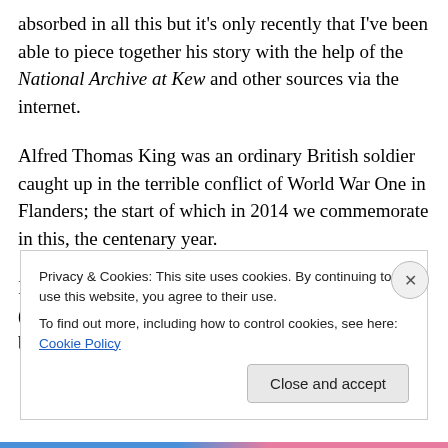absorbed in all this but it's only recently that I've been able to piece together his story with the help of the National Archive at Kew and other sources via the internet.
Alfred Thomas King was an ordinary British soldier caught up in the terrible conflict of World War One in Flanders; the start of which in 2014 we commemorate in this, the centenary year.
I now know where Alfred King served, where he died (even down to the exact location) and where he is buried.
Privacy & Cookies: This site uses cookies. By continuing to use this website, you agree to their use.
To find out more, including how to control cookies, see here: Cookie Policy